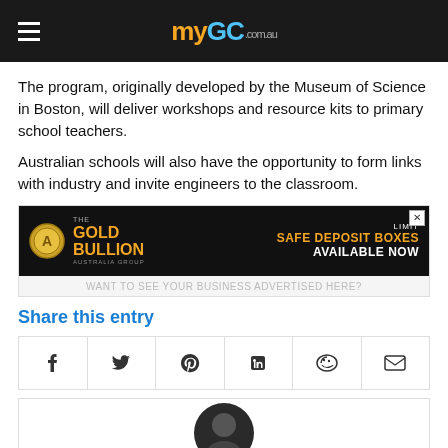myGC.com.au
The program, originally developed by the Museum of Science in Boston, will deliver workshops and resource kits to primary school teachers.
Australian schools will also have the opportunity to form links with industry and invite engineers to the classroom.
[Figure (other): Advertisement banner for The Gold Bullion Australia Group promoting limited safe deposit boxes available now, with a sub-label 'WANT TO SEE YOUR BUSINESS ADVERTISED HERE?']
Share this entry
[Figure (infographic): Social share buttons row: Facebook, Twitter, Pinterest, LinkedIn, Reddit, Email icons in a bordered grid]
[Figure (photo): Partial view of a person's head/profile photo at the bottom of the page]